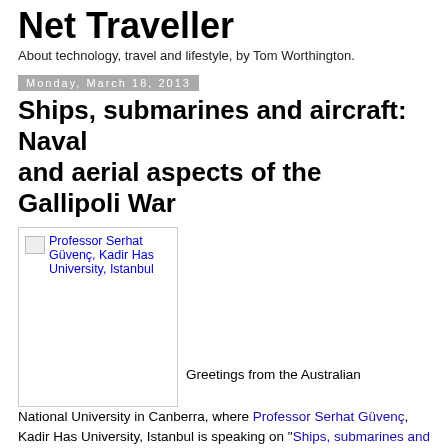Net Traveller
About technology, travel and lifestyle, by Tom Worthington.
Monday, March 18, 2013
Ships, submarines and aircraft: Naval and aerial aspects of the Gallipoli War
[Figure (photo): Broken image placeholder for Professor Serhat Güvenç, Kadir Has University, Istanbul]
Greetings from the Australian National University in Canberra, where Professor Serhat Güvenç, Kadir Has University, Istanbul is speaking on "Ships, submarines and aircraft: Naval and aerial aspects of the Gallipoli War". Professor Güvenç discussed the arms